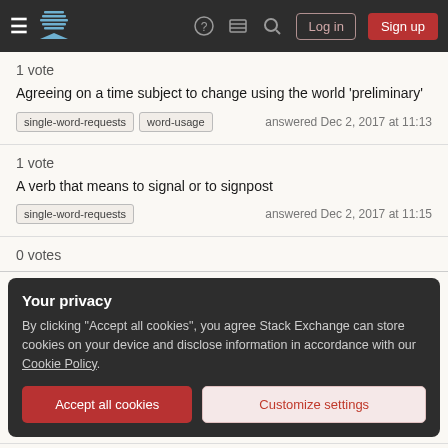Stack Exchange navigation bar with Log in and Sign up buttons
1 vote
Agreeing on a time subject to change using the world 'preliminary'
single-word-requests  word-usage  answered Dec 2, 2017 at 11:13
1 vote
A verb that means to signal or to signpost
single-word-requests  answered Dec 2, 2017 at 11:15
0 votes
Your privacy
By clicking "Accept all cookies", you agree Stack Exchange can store cookies on your device and disclose information in accordance with our Cookie Policy.
Accept all cookies  Customize settings